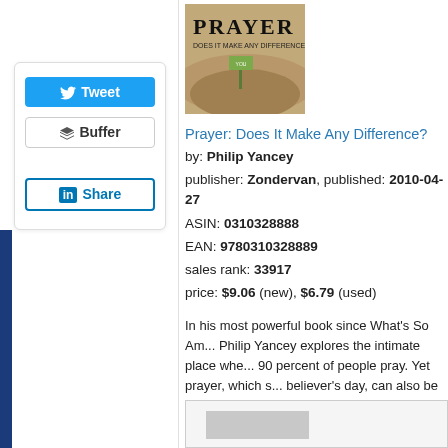[Figure (screenshot): Tweet button (blue), Buffer button, and LinkedIn Share button in a card widget on the left sidebar]
[Figure (photo): Book cover for 'Prayer: Does It Make Any Difference?' by Philip Yancey]
Prayer: Does It Make Any Difference?
by: Philip Yancey
publisher: Zondervan, published: 2010-04-27
ASIN: 0310328888
EAN: 9780310328889
sales rank: 33917
price: $9.06 (new), $6.79 (used)
In his most powerful book since What's So Am... Philip Yancey explores the intimate place whe... 90 percent of people pray. Yet prayer, which s... believer's day, can also be frustrating, confusi... pilgrim, Yancey probes such questions as: *Is... God knows everything, what's the point of pra... inconsistent? *Why does God sometimes see... make prayer more satisfying? Yancey tackles... a fresh new approach to this timeless topic. 'I... says, and he invites you to join him on this all-